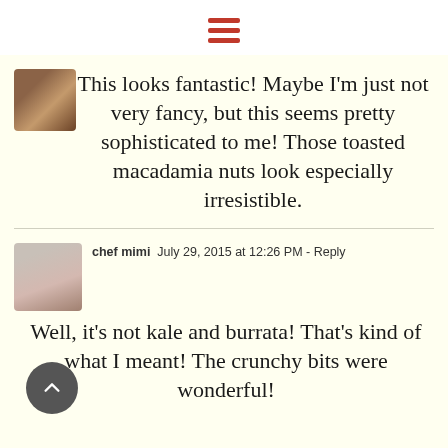hamburger menu icon
This looks fantastic! Maybe I'm just not very fancy, but this seems pretty sophisticated to me! Those toasted macadamia nuts look especially irresistible.
chef mimi  July 29, 2015 at 12:26 PM - Reply
Well, it's not kale and burrata! That's kind of what I meant! The crunchy bits were wonderful!